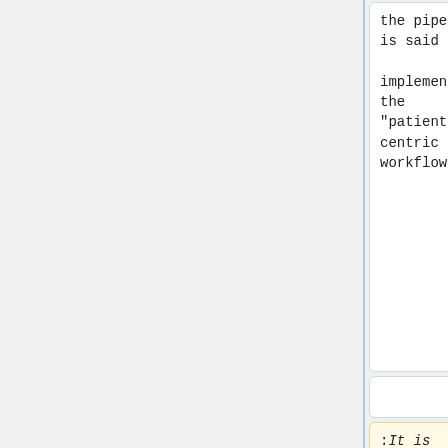the pipeline is said to implement the "patient-centric workflow".
the pipeline is said to implement the "patient-centric workflow".
:<em>It is also possible to group objects by study by setting the <b><tt>caseTag</tt></b> attribute to <b>StudyInst
The storage stage creates a new MIRCdocument when one does not already exist to store the object. New MIRCdocument